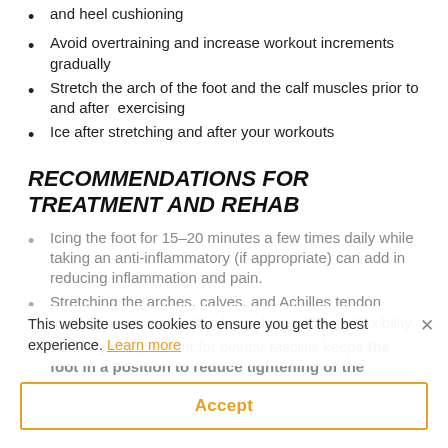and heel cushioning
Avoid overtraining and increase workout increments gradually
Stretch the arch of the foot and the calf muscles prior to and after  exercising
Ice after stretching and after your workouts
RECOMMENDATIONS FOR TREATMENT AND REHAB
Icing the foot for 15–20 minutes a few times daily while taking an anti-inflammatory (if appropriate) can add in reducing inflammation and pain.
Stretching the arches, calves, and Achilles tendon multiple times during the day to help increase flexibility
Wearing a night splint for plantar fasciitis keeps the foot in a position to reduce tightening of the